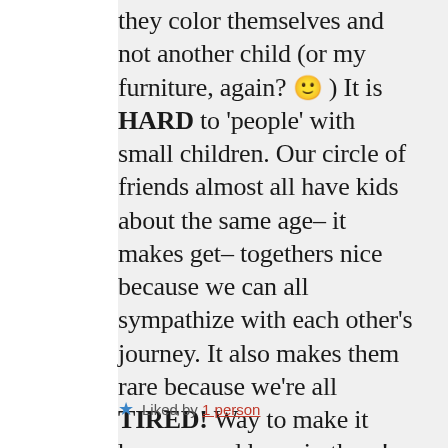they color themselves and not another child (or my furniture, again? 🙂 ) It is HARD to 'people' with small children. Our circle of friends almost all have kids about the same age– it makes get– togethers nice because we can all sympathize with each other's journey. It also makes them rare because we're all TIRED! Way to make it happen, and hang in there! 🙂
★ Liked by 1 person